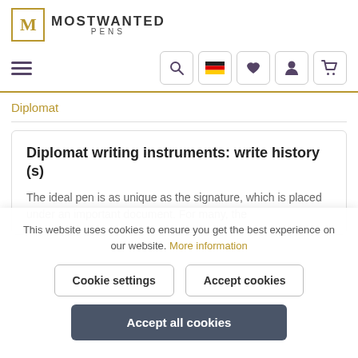[Figure (logo): Most Wanted Pens logo with stylized M in gold square border and MOSTWANTED PENS text]
[Figure (screenshot): Navigation bar with hamburger menu, search icon, German flag icon, heart icon, user icon, cart icon]
Diplomat
Diplomat writing instruments: write history (s)
The ideal pen is as unique as the signature, which is placed under an important document. For many, the
This website uses cookies to ensure you get the best experience on our website. More information
Cookie settings
Accept cookies
Accept all cookies